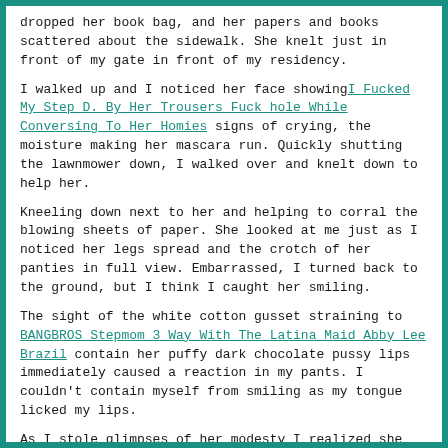dropped her book bag, and her papers and books scattered about the sidewalk. She knelt just in front of my gate in front of my residency.
I walked up and I noticed her face showing[I Fucked My Step D. By Her Trousers Fuck hole While Conversing To Her Homies] signs of crying, the moisture making her mascara run. Quickly shutting the lawnmower down, I walked over and knelt down to help her.
Kneeling down next to her and helping to corral the blowing sheets of paper. She looked at me just as I noticed her legs spread and the crotch of her panties in full view. Embarrassed, I turned back to the ground, but I think I caught her smiling.
The sight of the white cotton gusset straining to [BANGBROS Stepmom 3 Way With The Latina Maid Abby Lee Brazil] contain her puffy dark chocolate pussy lips immediately caused a reaction in my pants. I couldn't contain myself from smiling as my tongue licked my lips.
As I stole glimpses of her modesty I realized she was using my thigh to steady herself. I also realized her fingers were massaging close to where my cock was straining down the leg of my jeans. It was electric, the